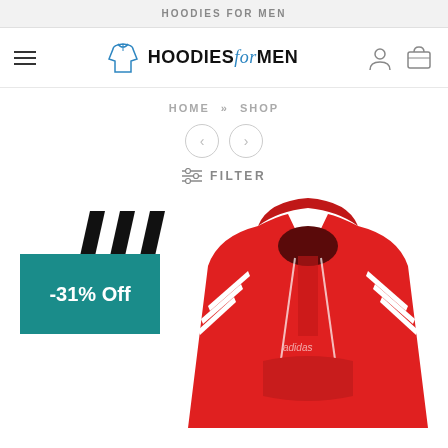HOODIES FOR MEN
[Figure (logo): Hoodies for Men website logo with hoodie icon and text HOODIES for MEN]
HOME » SHOP
FILTER
[Figure (photo): Red Adidas hoodie with three white stripes and Adidas logo text, shown cropped on torso. A teal discount badge reads -31% Off overlaid on the Adidas logo in the upper left of the product area.]